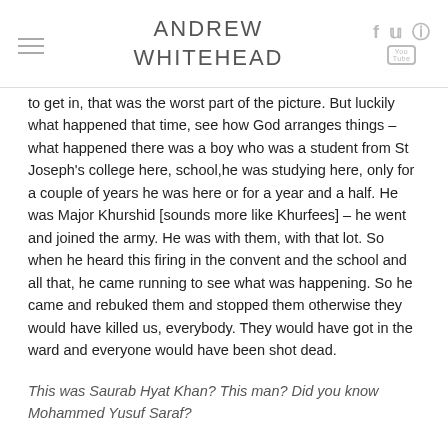ANDREW WHITEHEAD
to get in, that was the worst part of the picture. But luckily what happened that time, see how God arranges things – what happened there was a boy who was a student from St Joseph's college here, school,he was studying here, only for a couple of years he was here or for a year and a half. He was Major Khurshid [sounds more like Khurfees] – he went and joined the army. He was with them, with that lot. So when he heard this firing in the convent and the school and all that, he came running to see what was happening. So he came and rebuked them and stopped them otherwise they would have killed us, everybody. They would have got in the ward and everyone would have been shot dead.
This was Saurab Hyat Khan? This man? Did you know Mohammed Yusuf Saraf?